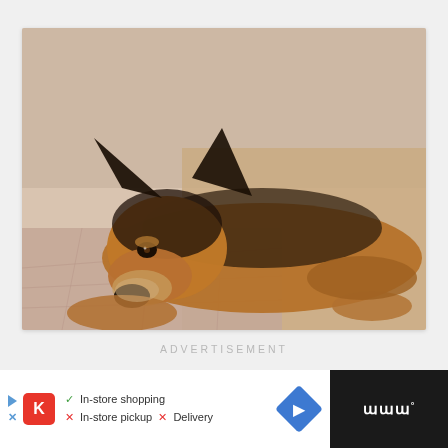[Figure (photo): A German Shepherd dog lying down on tiled surface with sandy ground, looking at camera, warm tones, blurred background]
ADVERTISEMENT
[Figure (other): Three small square dots used as a navigation/pagination indicator]
[Figure (infographic): Advertisement banner: Kroger store ad showing In-store shopping (checkmark), In-store pickup (X), Delivery (X), navigation arrow icon, and dark right panel with stylized text]